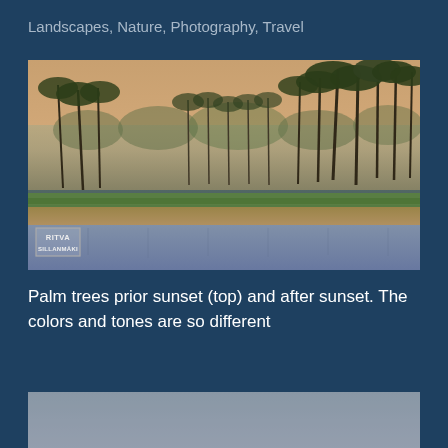Landscapes, Nature, Photography, Travel
[Figure (photo): Landscape photograph of palm trees along a waterway with a hazy orange-tinted sky before sunset. Dense palm trees line the far bank with misty forest behind. A green hedge/fence and sandy embankment border the water. A watermark reading RITVA SILLANMAKI appears in the lower left corner.]
Palm trees prior sunset (top) and after sunset. The colors and tones are so different
[Figure (photo): Partial view of a second landscape photograph showing palm trees after sunset with gray/blue toned sky.]